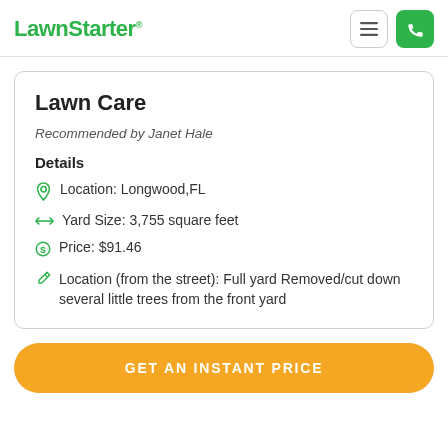LawnStarter
Lawn Care
Recommended by Janet Hale
Details
Location: Longwood,FL
Yard Size: 3,755 square feet
Price: $91.46
Location (from the street): Full yard Removed/cut down several little trees from the front yard
GET AN INSTANT PRICE